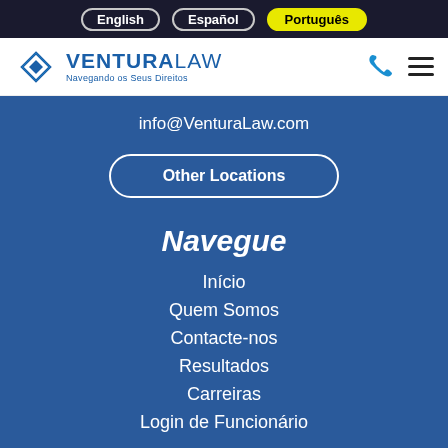English | Español | Português
[Figure (logo): Ventura Law logo with diamond icon and tagline 'Navegando os Seus Direitos']
info@VenturaLaw.com
Other Locations
Navegue
Início
Quem Somos
Contacte-nos
Resultados
Carreiras
Login de Funcionário